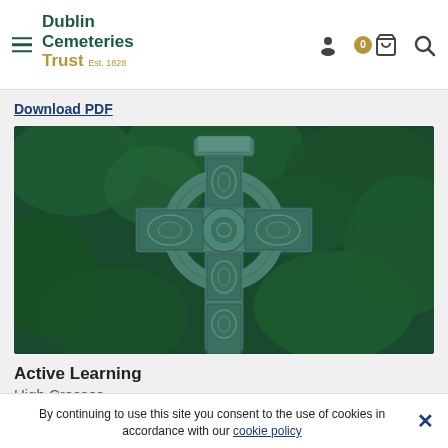Dublin Cemeteries Trust Est. 1828
Download PDF
[Figure (photo): Celtic high cross gravestone with intricate knotwork carvings, set against a dark green leafy background]
Active Learning
High Crosses
By continuing to use this site you consent to the use of cookies in accordance with our cookie policy